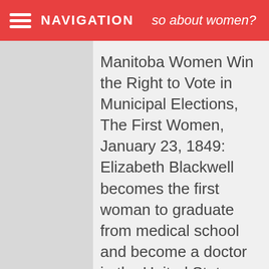NAVIGATION  so about women?
Manitoba Women Win the Right to Vote in Municipal Elections, The First Women, January 23, 1849: Elizabeth Blackwell becomes the first woman to graduate from medical school and become a doctor in the United States, Rosa Parks Civil Rights Equal Pay. I have way more. so if